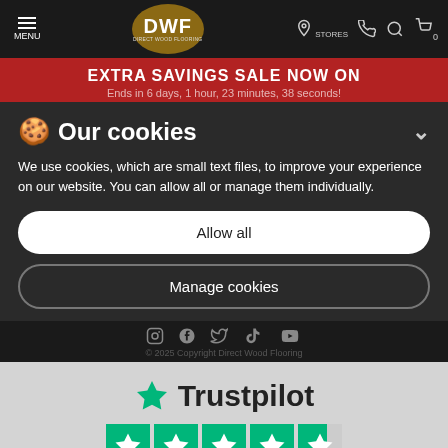[Figure (logo): DWF Direct Wood Flooring navigation header with hamburger menu, DWF logo in gold circle, and icons for stores, phone, search, and cart]
EXTRA SAVINGS SALE NOW ON
Ends in 6 days, 1 hour, 23 minutes, 38 seconds!
Our cookies
We use cookies, which are small text files, to improve your experience on our website. You can allow all or manage them individually.
Allow all
Manage cookies
[Figure (logo): Trustpilot logo with green star and the word Trustpilot, followed by 4.5 green star rating boxes]
© 2025 Copyright Direct Wood Flooring